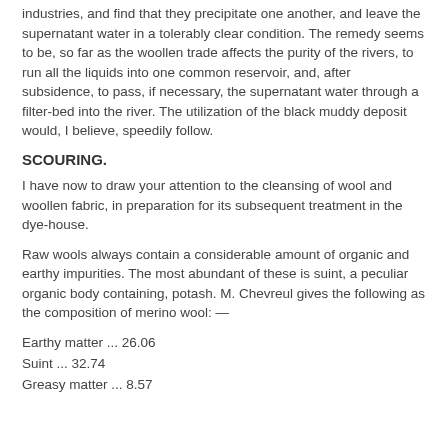industries, and find that they precipitate one another, and leave the supernatant water in a tolerably clear condition. The remedy seems to be, so far as the woollen trade affects the purity of the rivers, to run all the liquids into one common reservoir, and, after subsidence, to pass, if necessary, the supernatant water through a filter-bed into the river. The utilization of the black muddy deposit would, I believe, speedily follow.
SCOURING.
I have now to draw your attention to the cleansing of wool and woollen fabric, in preparation for its subsequent treatment in the dye-house.
Raw wools always contain a considerable amount of organic and earthy impurities. The most abundant of these is suint, a peculiar organic body containing, potash. M. Chevreul gives the following as the composition of merino wool: —
Earthy matter ... 26.06
Suint ... 32.74
Greasy matter ... 8.57